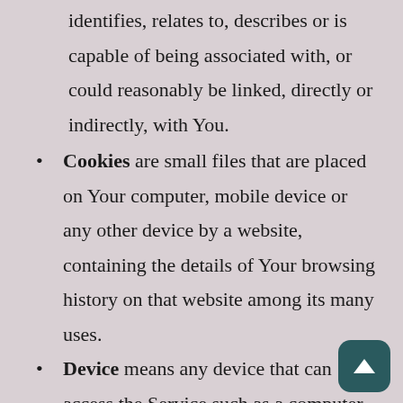identifies, relates to, describes or is capable of being associated with, or could reasonably be linked, directly or indirectly, with You.
Cookies are small files that are placed on Your computer, mobile device or any other device by a website, containing the details of Your browsing history on that website among its many uses.
Device means any device that can access the Service such as a computer, a cellphone or a digital tablet.
Usage Data refers to data collected automatically, either generated by the use of